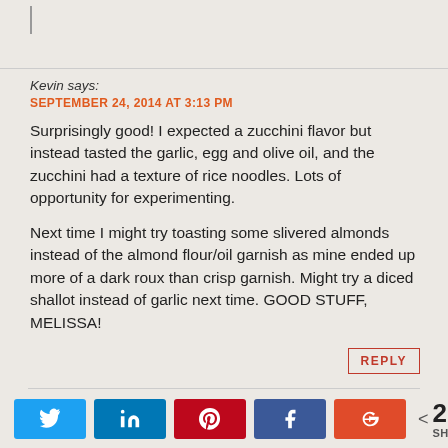Kevin says:
SEPTEMBER 24, 2014 AT 3:13 PM
Surprisingly good! I expected a zucchini flavor but instead tasted the garlic, egg and olive oil, and the zucchini had a texture of rice noodles. Lots of opportunity for experimenting.

Next time I might try toasting some slivered almonds instead of the almond flour/oil garnish as mine ended up more of a dark roux than crisp garnish. Might try a diced shallot instead of garlic next time. GOOD STUFF, MELISSA!
Jessica says:
SEPTEMBER 25, 2014 AT 12:34 PM
I do not know why this works, but it does. I am pregnant and this has finally satisfied my finicky stomach. Thank you for the recipe!
[Figure (infographic): Social share bar with Twitter, LinkedIn, Pinterest, Facebook, Google+ buttons and share count of 205]